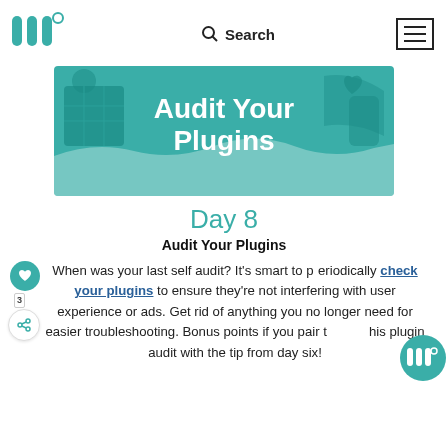[Figure (logo): Mediavine logo - teal colored stylized 'M' shapes with a small circle superscript]
Search  ≡
[Figure (illustration): Teal banner image with text 'Audit Your Plugins' on a decorative background with icons]
Day 8
Audit Your Plugins
When was your last self audit? It's smart to periodically check your plugins to ensure they're not interfering with user experience or ads. Get rid of anything you no longer need for easier troubleshooting. Bonus points if you pair this plugin audit with the tip from day six!